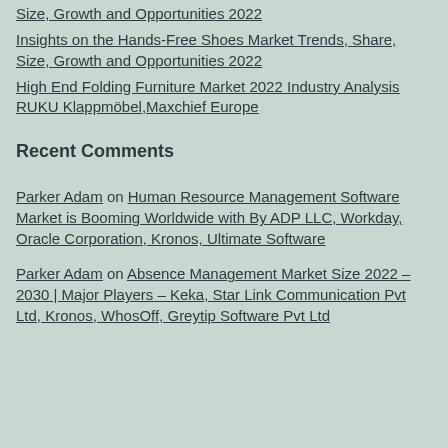Size, Growth and Opportunities 2022
Insights on the Hands-Free Shoes Market Trends, Share, Size, Growth and Opportunities 2022
High End Folding Furniture Market 2022 Industry Analysis RUKU Klappmöbel,Maxchief Europe
Recent Comments
Parker Adam on Human Resource Management Software Market is Booming Worldwide with By ADP LLC, Workday, Oracle Corporation, Kronos, Ultimate Software
Parker Adam on Absence Management Market Size 2022 – 2030 | Major Players – Keka, Star Link Communication Pvt Ltd, Kronos, WhosOff, Greytip Software Pvt Ltd